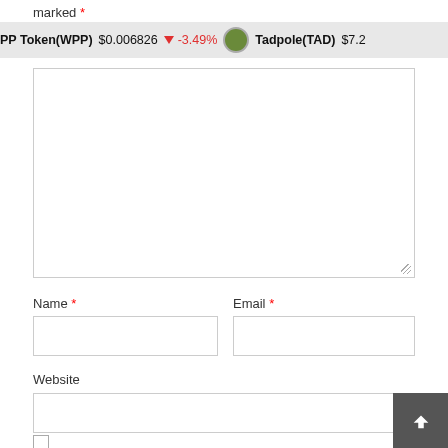marked *
[Figure (screenshot): Cryptocurrency ticker bar showing: WPP Token(WPP) $0.006826 -3.49% (red down arrow) | Tadpole(TAD) $7.2... with coin icon]
[Figure (other): Large empty textarea comment input box with resize handle]
Name *
Email *
[Figure (other): Name text input field (empty)]
[Figure (other): Email text input field (empty)]
Website
[Figure (other): Website text input field (empty)]
[Figure (other): Back to top button (dark gray, white chevron up arrow)]
[Figure (other): Unchecked checkbox]